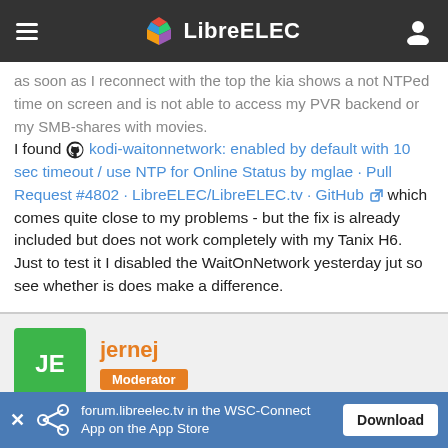LibreELEC
as soon as I reconnect with the top the kia shows a not NTPed time on screen and is not able to access my PVR backend or my SMB-shares with movies. I found kodi-waitonnetwork: enabled by default with 10 sec timeout / use NTP for Online Status by mglae · Pull Request #4802 · LibreELEC/LibreELEC.tv · GitHub which comes quite close to my problems - but the fix is already included but does not work completely with my Tanix H6. Just to test it I disabled the WaitOnNetwork yesterday jut so see whether is does make a difference.
jernej
Moderator
Jul 26th 2021   Official Post
forum.libreelec.tv in the WSC-Connect App on the App Store